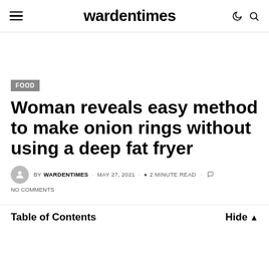wardentimes
FOOD
Woman reveals easy method to make onion rings without using a deep fat fryer
BY WARDENTIMES · MAY 27, 2021 · 2 MINUTE READ · NO COMMENTS
Table of Contents  Hide